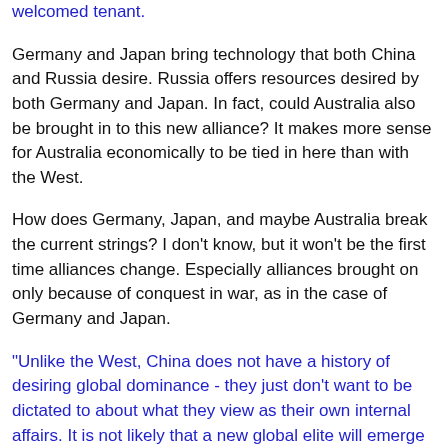welcomed tenant.
Germany and Japan bring technology that both China and Russia desire. Russia offers resources desired by both Germany and Japan. In fact, could Australia also be brought in to this new alliance? It makes more sense for Australia economically to be tied in here than with the West.
How does Germany, Japan, and maybe Australia break the current strings? I don't know, but it won't be the first time alliances change. Especially alliances brought on only because of conquest in war, as in the case of Germany and Japan.
"Unlike the West, China does not have a history of desiring global dominance - they just don't want to be dictated to about what they view as their own internal affairs. It is not likely that a new global elite will emerge from China."
If I understand correctly, China voluntarily stood down 500 years ago - destroying the fleet and all records, etc. They haven't explored far since. They just don't want to be told